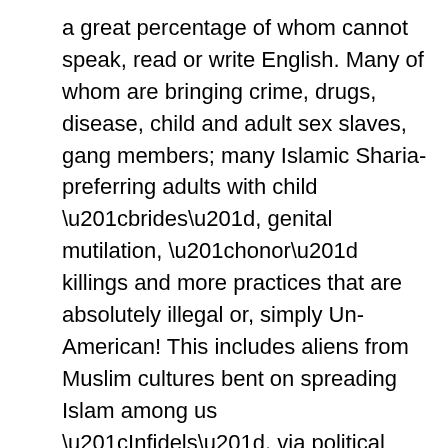a great percentage of whom cannot speak, read or write English. Many of whom are bringing crime, drugs, disease, child and adult sex slaves, gang members; many Islamic Sharia-preferring adults with child “brides”, genital mutilation, “honor” killings and more practices that are absolutely illegal or, simply Un-American! This includes aliens from Muslim cultures bent on spreading Islam among us “Infidels”, via political action or violence and terrorism, as they have done in other countries of the world.
23. Illegal immigration in #22, flooding-in millions of illegal aliens overwhelming and destroying our social, legal, medical, educational, welfare, and economic systems and insuring radical liberal Marxist democrats political hegemony in perpetuity.
24. The censorship of America’s founding Judeo-Christian